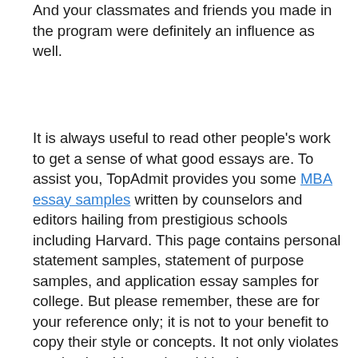And your classmates and friends you made in the program were definitely an influence as well.
It is always useful to read other people's work to get a sense of what good essays are. To assist you, TopAdmit provides you some MBA essay samples written by counselors and editors hailing from prestigious schools including Harvard. This page contains personal statement samples, statement of purpose samples, and application essay samples for college. But please remember, these are for your reference only; it is not to your benefit to copy their style or concepts. It not only violates academic ethics and could lead to an automatic rejection by the admissions committee — the point of our service is to help you construct a unique